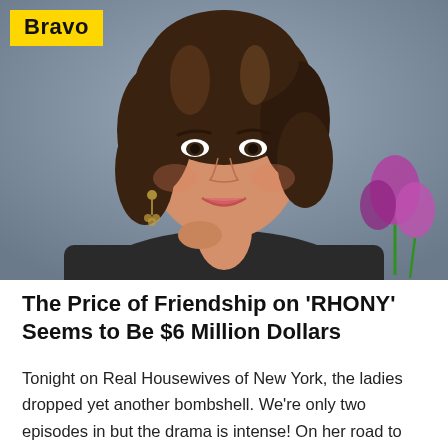[Figure (photo): Close-up photo of a woman with dark brown wavy hair, wearing chandelier earrings and a dark top. She is posed with her hand near her chin, smiling. Pink/purple tulips visible in background. Bravo network logo overlay in yellow badge top-left.]
The Price of Friendship on 'RHONY' Seems to Be $6 Million Dollars
Tonight on Real Housewives of New York, the ladies dropped yet another bombshell. We're only two episodes in but the drama is intense! On her road to relapse, Luann De Lesseps revealed she hit up multiple friends for a six million dollar donation to